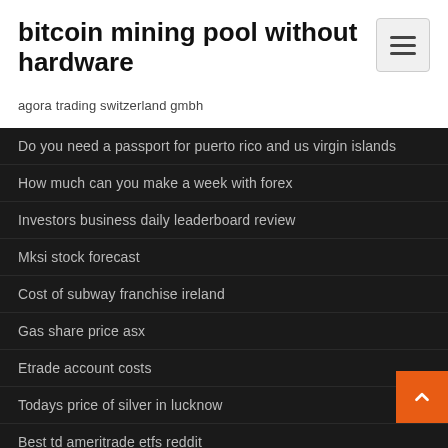bitcoin mining pool without hardware
agora trading switzerland gmbh
Do you need a passport for puerto rico and us virgin islands
How much can you make a week with forex
Investors business daily leaderboard review
Mksi stock forecast
Cost of subway franchise ireland
Gas share price asx
Etrade account costs
Todays price of silver in lucknow
Best td ameritrade etfs reddit